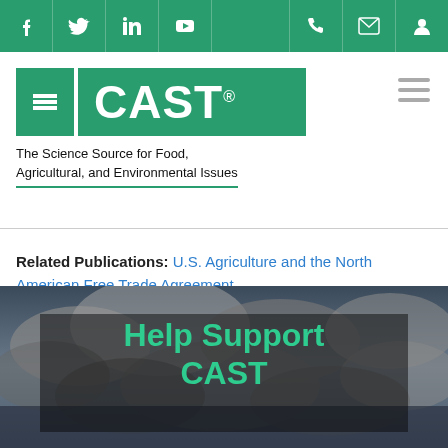[Figure (logo): CAST website header with social media icons (Facebook, Twitter, LinkedIn, YouTube) and contact icons (phone, email, account) on a green bar, followed by the CAST logo and tagline 'The Science Source for Food, Agricultural, and Environmental Issues']
Related Publications: U.S. Agriculture and the North American Free Trade Agreement
[Figure (photo): Dark stormy clouds background with a semi-transparent box containing the text 'Help Support CAST' in green bold font]